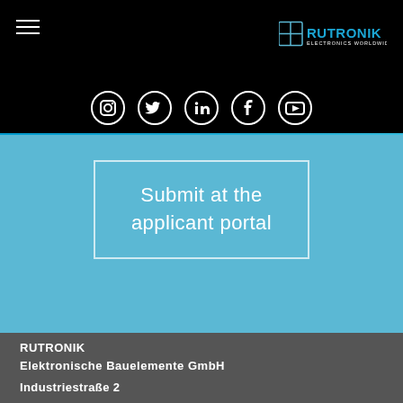[Figure (logo): Rutronik Electronics Worldwide logo with grid icon in top right, hamburger menu in top left, on black background]
[Figure (infographic): Five social media icons in circles on black background: Instagram, Twitter, LinkedIn, Facebook, YouTube]
Submit at the applicant portal
RUTRONIK
Elektronische Bauelemente GmbH

Industriestraße 2